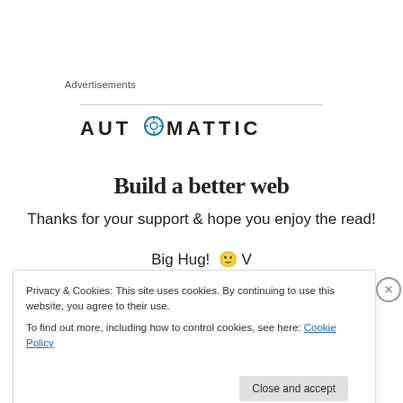Advertisements
[Figure (logo): Automattic logo with compass/target icon replacing the 'O']
Build a better web
Thanks for your support & hope you enjoy the read!
Big Hug! 🙂 V
Privacy & Cookies: This site uses cookies. By continuing to use this website, you agree to their use.
To find out more, including how to control cookies, see here: Cookie Policy
Close and accept